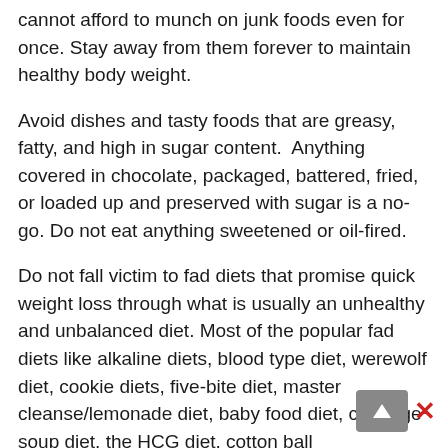cannot afford to munch on junk foods even for once. Stay away from them forever to maintain healthy body weight.
Avoid dishes and tasty foods that are greasy, fatty, and high in sugar content.  Anything covered in chocolate, packaged, battered, fried, or loaded up and preserved with sugar is a no-go. Do not eat anything sweetened or oil-fired.
Do not fall victim to fad diets that promise quick weight loss through what is usually an unhealthy and unbalanced diet. Most of the popular fad diets like alkaline diets, blood type diet, werewolf diet, cookie diets, five-bite diet, master cleanse/lemonade diet, baby food diet, cabbage soup diet, the HCG diet, cotton ball